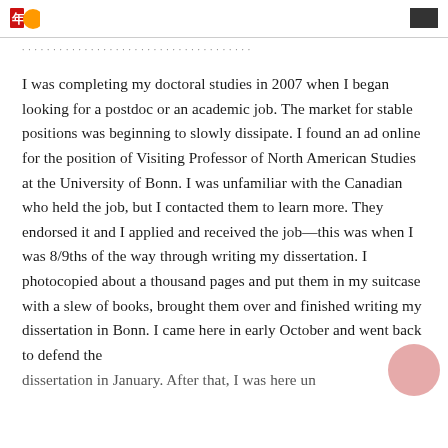[Logo / navigation header]
I was completing my doctoral studies in 2007 when I began looking for a postdoc or an academic job. The market for stable positions was beginning to slowly dissipate. I found an ad online for the position of Visiting Professor of North American Studies at the University of Bonn. I was unfamiliar with the Canadian who held the job, but I contacted them to learn more. They endorsed it and I applied and received the job—this was when I was 8/9ths of the way through writing my dissertation. I photocopied about a thousand pages and put them in my suitcase with a slew of books, brought them over and finished writing my dissertation in Bonn. I came here in early October and went back to defend the dissertation in January. After that, I was here un…